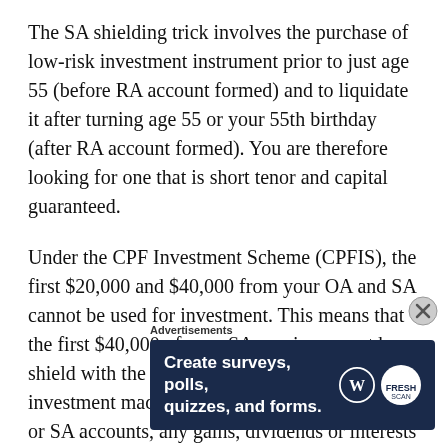The SA shielding trick involves the purchase of low-risk investment instrument prior to just age 55 (before RA account formed) and to liquidate it after turning age 55 or your 55th birthday (after RA account formed). You are therefore looking for one that is short tenor and capital guaranteed.
Under the CPF Investment Scheme (CPFIS), the first $20,000 and $40,000 from your OA and SA cannot be used for investment. This means that the first $40,000 of your SA monies cannot be shield with the SA shielding trick. Also, for any investment made with funds from your CPF OA or SA accounts, any gains, dividends or interests earned in your investments will
Advertisements
[Figure (other): Advertisement banner with dark blue background showing text 'Create surveys, polls, quizzes, and forms.' with WordPress and FreshScan logos]